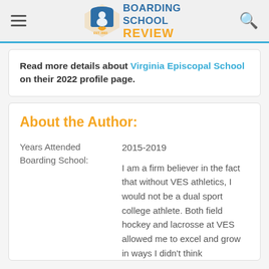Boarding School Review — navigation header with logo
Read more details about Virginia Episcopal School on their 2022 profile page.
About the Author:
Years Attended Boarding School:
2015-2019
I am a firm believer in the fact that without VES athletics, I would not be a dual sport college athlete. Both field hockey and lacrosse at VES allowed me to excel and grow in ways I didn't think